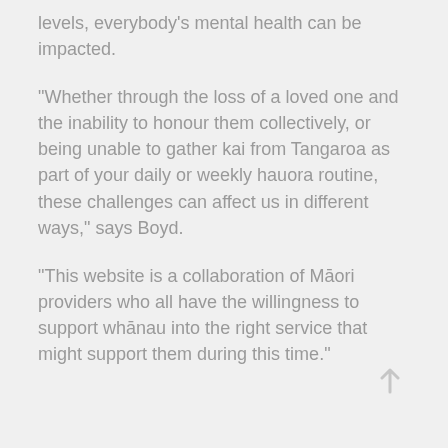levels, everybody's mental health can be impacted.
“Whether through the loss of a loved one and the inability to honour them collectively, or being unable to gather kai from Tangaroa as part of your daily or weekly hauora routine, these challenges can affect us in different ways,” says Boyd.
“This website is a collaboration of Māori providers who all have the willingness to support whānau into the right service that might support them during this time.”